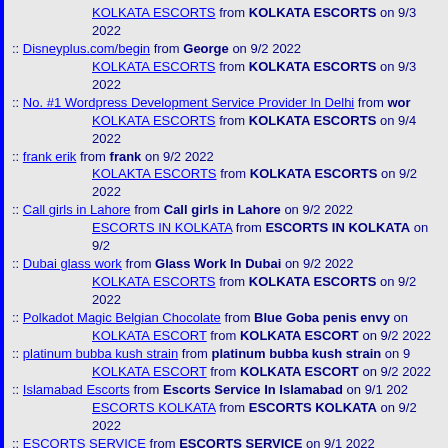KOLKATA ESCORTS from KOLKATA ESCORTS on 9/3 2022
:: Disneyplus.com/begin from George on 9/2 2022
    KOLKATA ESCORTS from KOLKATA ESCORTS on 9/3 2022
:: No. #1 Wordpress Development Service Provider In Delhi from wor...
    KOLKATA ESCORTS from KOLKATA ESCORTS on 9/4 2022
:: frank erik from frank on 9/2 2022
    KOLAKTA ESCORTS from KOLKATA ESCORTS on 9/2 2022
:: Call girls in Lahore from Call girls in Lahore on 9/2 2022
    ESCORTS IN KOLKATA from ESCORTS IN KOLKATA on 9/2
:: Dubai glass work from Glass Work In Dubai on 9/2 2022
    KOLKATA ESCORTS from KOLKATA ESCORTS on 9/2 2022
:: Polkadot Magic Belgian Chocolate from Blue Goba penis envy on...
    KOLKATA ESCORT from KOLKATA ESCORT on 9/2 2022
:: platinum bubba kush strain from platinum bubba kush strain on 9...
    KOLKATA ESCORT from KOLKATA ESCORT on 9/2 2022
:: Islamabad Escorts from Escorts Service In Islamabad on 9/1 202...
    ESCORTS KOLKATA from ESCORTS KOLKATA on 9/2 2022
:: ESCORTS SERVICE from ESCORTS SERVICE on 9/1 2022
    ECSORTS KOLKATA from ECSORTS KOLKATA on 9/2 2022
:: ESCORTS IN KOLKATA from ESCORTS IN KOLKATA on 9/1 2022...
    KOLKATA ESCORTS from KOLKATA ESCORTS on 9/2 2022
:: &#49828;&#54252;&#52768;&#53664;&#53664; from &#49828;&#...
    KOLKATA ESCORTS SERVICE from KOLKATA ESCORTS SE...
    KOLKATA ESCORTS from KOLKATA ESCORTS on 9/2 2022
:: Bhopal Escorts Services from Priya Bhargav on 9/1 2022
    ESCORTS from ESCORTS on 9/1 2022
:: Brigade horizon luxurious apartment - Mysore road from Brigade h...
    ESCORTS from ESCORTS on 9/1 2022
:: Use Malegra-100 For Your Unforgettable Nights from welloxpharm...
    ESCORTS from ESCORTS on 9/1 2022